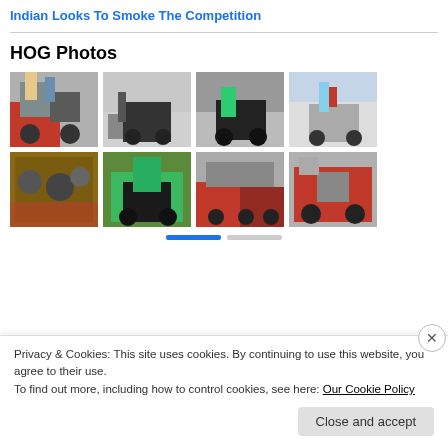Indian Looks To Smoke The Competition
HOG Photos
[Figure (photo): Grid of 8 motorcycle and HOG (Harley Owners Group) photos showing motorcycles, riders, and events. Row 1: sidecar trike with red bike and people, black Harley in street event, child on motorcycle with crowd, young person on motorcycle. Row 2: close-up of vintage engine, green custom chopper, red motorcycles parked, red vintage motorcycle close-up.]
Privacy & Cookies: This site uses cookies. By continuing to use this website, you agree to their use. To find out more, including how to control cookies, see here: Our Cookie Policy